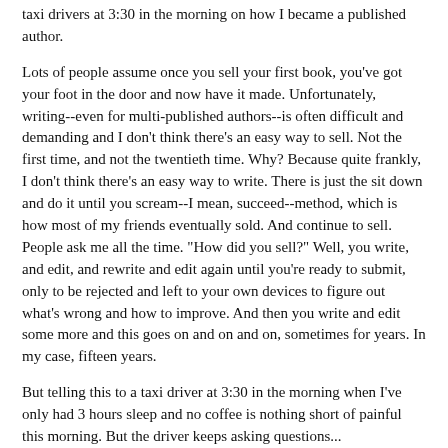birthday party to fill, there's pressing that wall, chatting with taxi drivers at 3:30 in the morning on how I became a published author.
Lots of people assume once you sell your first book, you've got your foot in the door and now have it made. Unfortunately, writing--even for multi-published authors--is often difficult and demanding and I don't think there's an easy way to sell. Not the first time, and not the twentieth time. Why? Because quite frankly, I don't think there's an easy way to write. There is just the sit down and do it until you scream--I mean, succeed--method, which is how most of my friends eventually sold. And continue to sell. People ask me all the time. "How did you sell?" Well, you write, and edit, and rewrite and edit again until you're ready to submit, only to be rejected and left to your own devices to figure out what's wrong and how to improve. And then you write and edit some more and this goes on and on and on, sometimes for years. In my case, fifteen years.
But telling this to a taxi driver at 3:30 in the morning when I've only had 3 hours sleep and no coffee is nothing short of painful this morning. But the driver keeps asking questions...